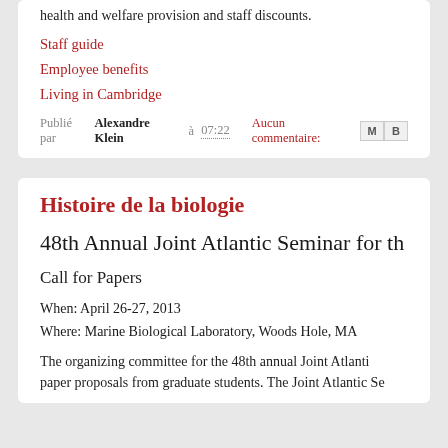health and welfare provision and staff discounts.
Staff guide
Employee benefits
Living in Cambridge
Publié par Alexandre Klein à 07:22    Aucun commentaire:
Histoire de la biologie
48th Annual Joint Atlantic Seminar for th
Call for Papers
When: April 26-27, 2013
Where: Marine Biological Laboratory, Woods Hole, MA
The organizing committee for the 48th annual Joint Atlanti paper proposals from graduate students. The Joint Atlantic Se